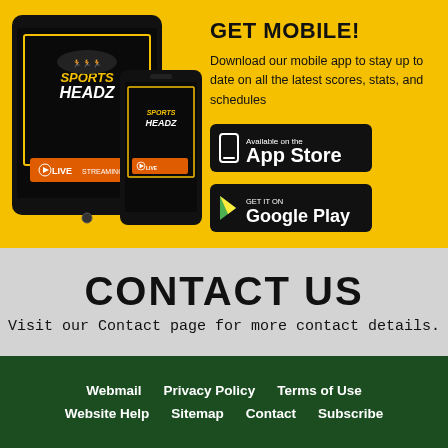[Figure (illustration): Tablet and smartphone devices showing the Sports Headz app with Live Streaming feature on a yellow background]
GET MOBILE!
Download our mobile app to stay up to date on all the latest scores, stats, and schedules
[Figure (logo): Available on the App Store badge (black rounded rectangle with phone icon)]
[Figure (logo): GET IT ON Google Play badge (black rounded rectangle with Play logo)]
CONTACT US
Visit our Contact page for more contact details.
Webmail   Privacy Policy   Terms of Use   Website Help   Sitemap   Contact   Subscribe